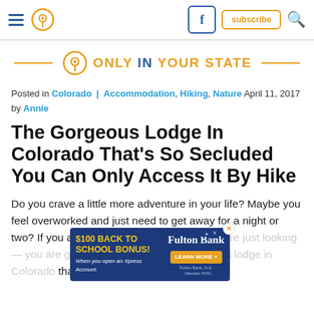Only In Your State – navigation bar with hamburger menu, location pin icon, Facebook button, subscribe button, search icon
[Figure (logo): Only In Your State logo with orange location pin icon, orange and blue text, orange horizontal lines on each side]
Posted in Colorado | Accommodation, Hiking, Nature April 11, 2017 by Annie
The Gorgeous Lodge In Colorado That's So Secluded You Can Only Access It By Hike
Do you crave a little more adventure in your life? Maybe you feel overworked and just need to get away for a night or two? If you answered yes to either of those, or are just looking — you are going to go crazy for this gorgeous lodge in Colorado that is only accessible by foot:
[Figure (advertisement): $100 Back To School Bonus advertisement for Fulton Bank with Learn More button]